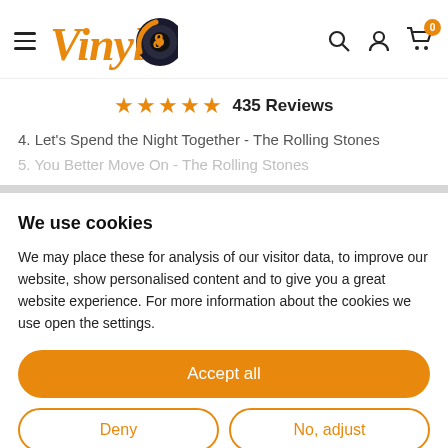[Figure (logo): Vinyl8 logo with orange retro script text and vinyl record graphic]
★★★★★ 435 Reviews
4. Let's Spend the Night Together - The Rolling Stones
5. You Better Move On - The Rolling Stones
We use cookies
We may place these for analysis of our visitor data, to improve our website, show personalised content and to give you a great website experience. For more information about the cookies we use open the settings.
Accept all
Deny
No, adjust